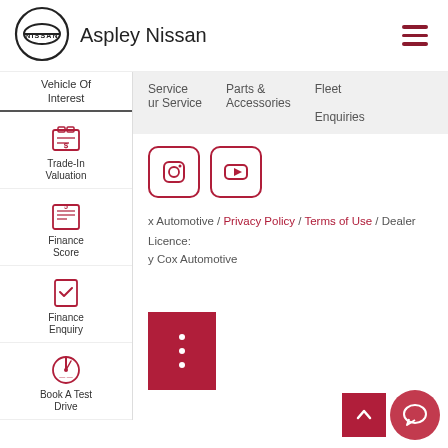[Figure (logo): Nissan logo (circular emblem with NISSAN text) followed by 'Aspley Nissan' dealership name in header]
[Figure (infographic): Hamburger menu icon (three dark red horizontal lines) in top right corner]
Service / ur Service  Parts & Accessories  Fleet Enquiries
Vehicle Of Interest
[Figure (infographic): Trade-In Valuation sidebar icon with label]
[Figure (infographic): Finance Score sidebar icon with label]
[Figure (infographic): Finance Enquiry sidebar icon with label]
[Figure (infographic): Book A Test Drive sidebar icon with label]
[Figure (infographic): Instagram icon button (square with rounded corners, dark red border)]
[Figure (infographic): YouTube icon button (square with rounded corners, dark red border)]
x Automotive / Privacy Policy / Terms of Use / Dealer Licence:
y Cox Automotive
[Figure (infographic): Red vertical menu button with three dots]
[Figure (infographic): Scroll to top button (red square with up arrow)]
[Figure (infographic): Chat button (circular red button with speech bubble icon)]